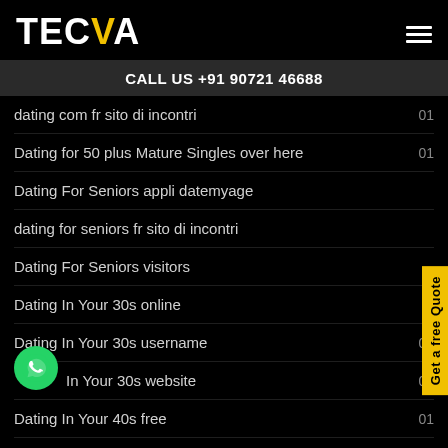TECVA
CALL US +91 90721 46688
dating com fr sito di incontri  01
Dating for 50 plus Mature Singles over here  01
Dating For Seniors appli datemyage  01
dating for seniors fr sito di incontri
Dating For Seniors visitors
Dating In Your 30s online
Dating In Your 30s username  01
Dating In Your 30s website  01
Dating In Your 40s free  01